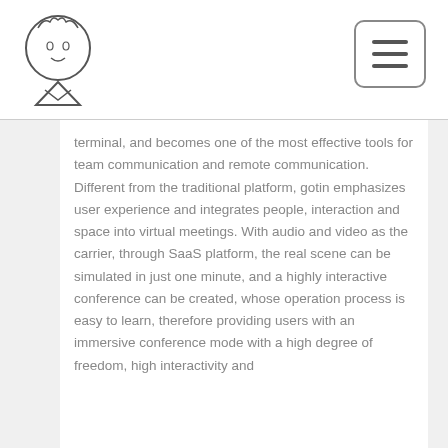[Logo icon] [Menu button]
terminal, and becomes one of the most effective tools for team communication and remote communication. Different from the traditional platform, gotin emphasizes user experience and integrates people, interaction and space into virtual meetings. With audio and video as the carrier, through SaaS platform, the real scene can be simulated in just one minute, and a highly interactive conference can be created, whose operation process is easy to learn, therefore providing users with an immersive conference mode with a high degree of freedom, high interactivity and